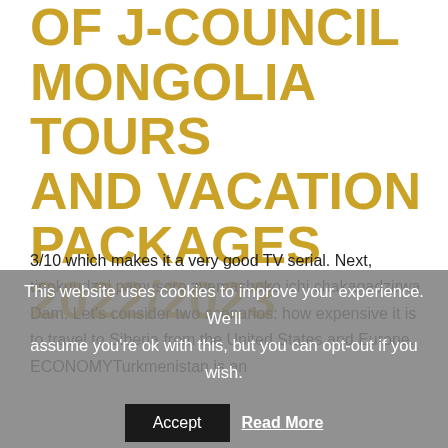OF J-COUNCIL MONGOLIA TOURS AND VACATION PACKAGES 2022/2023
3/10 which makes it a very good TV serial. Next, tinokuudzai pamusoro zvemashoko ichi chakagadzirwa Dam. Let's consider two scenarios: how expensive it is to travel to Siberia from the United States and Europe. ECONOMYTurkmenistan is an
This website uses cookies to improve your experience. We'll assume you're ok with this, but you can opt-out if you wish.